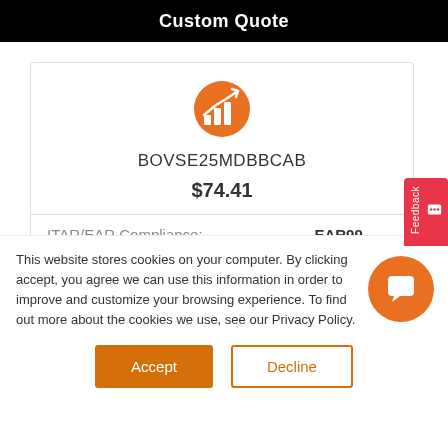Custom Quote
[Figure (logo): Orange circular icon with white bar chart and upward arrow]
BOVSE25MDBBCAB
$74.41
| ITAR/EAR Compliance: | EAR99 |
| Phase Noise: | Good |
This website stores cookies on your computer. By clicking accept, you agree we can use this information in order to improve and customize your browsing experience. To find out more about the cookies we use, see our Privacy Policy.